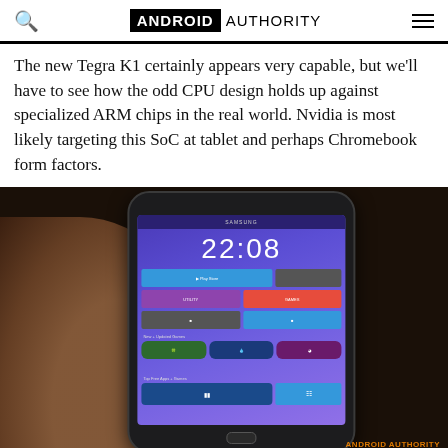ANDROID AUTHORITY
The new Tegra K1 certainly appears very capable, but we'll have to see how the odd CPU design holds up against specialized ARM chips in the real world. Nvidia is most likely targeting this SoC at tablet and perhaps Chromebook form factors.
[Figure (photo): A hand holding a Samsung Galaxy smartphone displaying the home screen with the time 22:08, showing app icons and widgets. The phone is resting on a dark leather surface. An Android Authority watermark appears in the bottom right corner.]